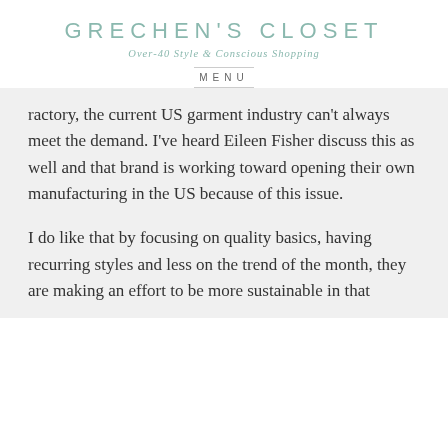GRECHEN'S CLOSET
Over-40 Style & Conscious Shopping
MENU
ractory, the current US garment industry can't always meet the demand. I've heard Eileen Fisher discuss this as well and that brand is working toward opening their own manufacturing in the US because of this issue.
I do like that by focusing on quality basics, having recurring styles and less on the trend of the month, they are making an effort to be more sustainable in that